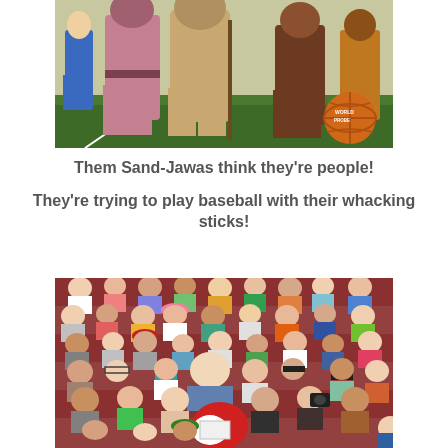[Figure (photo): People in Star Wars Jawa costumes and other fantasy/costume outfits walking on a baseball field, with a globe/world logo visible in the bottom right corner of the image.]
Them Sand-Jawas think they're people!

They're trying to play baseball with their whacking sticks!
[Figure (photo): Large crowd of spectators sitting in bleachers at a baseball game, with colorful clothing and various people of different ages watching the event.]